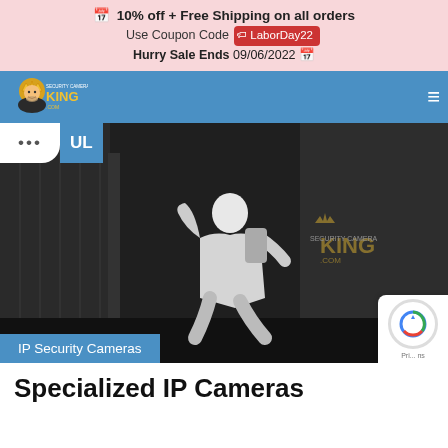🗓 10% off + Free Shipping on all orders Use Coupon Code LaborDay22 Hurry Sale Ends 09/06/2022 🗓
[Figure (logo): Security Camera King logo on blue navigation bar with hamburger menu icon]
[Figure (photo): Thermal/night vision security camera footage showing a person walking, with Security Camera King watermark. IP Security Cameras label in blue at bottom left.]
Specialized IP Cameras